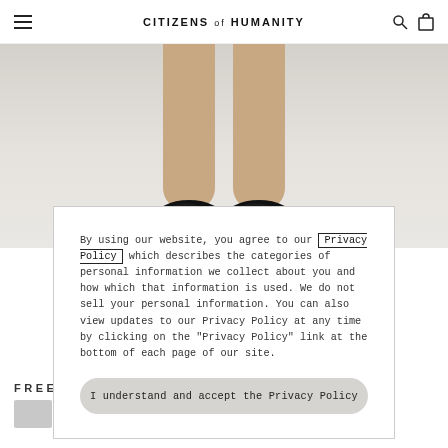CITIZENS of HUMANITY
[Figure (photo): Lower legs of a person wearing black loafers/shoes, standing on a light gray surface, photo cropped at thighs]
By using our website, you agree to our Privacy Policy which describes the categories of personal information we collect about you and how which that information is used. We do not sell your personal information. You can also view updates to our Privacy Policy at any time by clicking on the "Privacy Policy" link at the bottom of each page of our site.
I understand and accept the Privacy Policy
FREEFALL
[Figure (photo): Five color swatches for the FREEFALL product in various denim shades from light to dark]